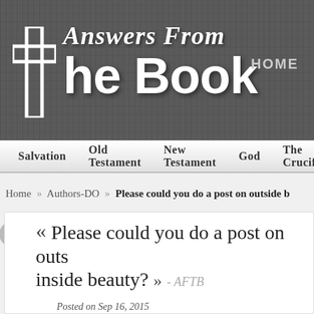[Figure (logo): Answers From The Book website logo with cross icon on dark wood-textured gray background]
HOME
Salvation   Old Testament   New Testament   God   The Crucifi
Home » Authors-DO » Please could you do a post on outside b
« Please could you do a post on outside beauty vs inside beauty? » - AFTB
Posted on Sep 16, 2015